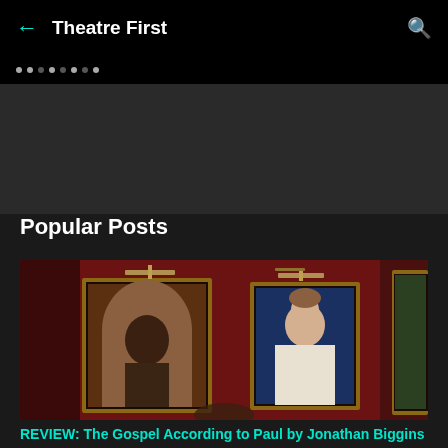← Theatre First 🔍
Popular Posts
[Figure (photo): Photo of classical oil portrait paintings hanging on a deep red wall, lit by picture lights. A male portrait in dark clothes on the left, a female portrait in the center, and a landscape painting on the right edge.]
REVIEW: The Gospel According to Paul by Jonathan Biggins
Early on in Jonathan Biggins' one-man ode to Australia's best